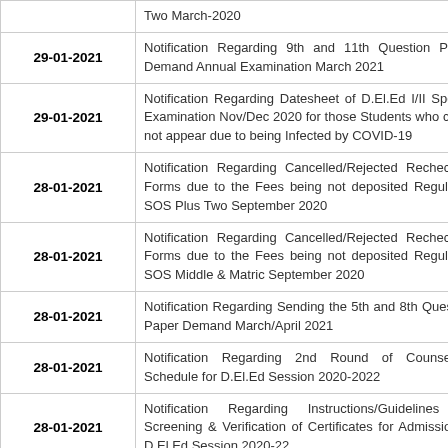| Date | Notification |
| --- | --- |
|  | Two March-2020 |
| 29-01-2021 | Notification Regarding 9th and 11th Question Paper Demand Annual Examination March 2021 |
| 29-01-2021 | Notification Regarding Datesheet of D.El.Ed I/II Special Examination Nov/Dec 2020 for those Students who could not appear due to being Infected by COVID-19 |
| 28-01-2021 | Notification Regarding Cancelled/Rejected Rechecking Forms due to the Fees being not deposited Regular & SOS Plus Two September 2020 |
| 28-01-2021 | Notification Regarding Cancelled/Rejected Rechecking Forms due to the Fees being not deposited Regular & SOS Middle & Matric September 2020 |
| 28-01-2021 | Notification Regarding Sending the 5th and 8th Question Paper Demand March/April 2021 |
| 28-01-2021 | Notification Regarding 2nd Round of Counselling Schedule for D.El.Ed Session 2020-2022 |
| 28-01-2021 | Notification Regarding Instructions/Guidelines for Screening & Verification of Certificates for Admission in D.El.Ed Session 2020-22 |
|  | Notification Regarding Roster Date and Sht... |